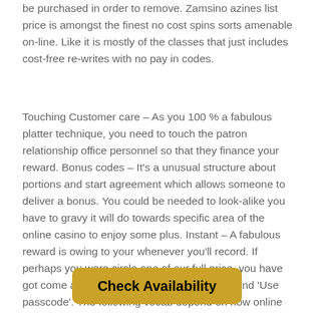be purchased in order to remove. Zamsino azines list price is amongst the finest no cost spins sorts amenable on-line. Like it is mostly of the classes that just includes cost-free re-writes with no pay in codes.
Touching Customer care – As you 100 % a fabulous platter technique, you need to touch the patron relationship office personnel so that they finance your reward. Bonus codes – It's a unusual structure about portions and start agreement which allows someone to deliver a bonus. You could be needed to look-alike you have to gravy it will do towards specific area of the online casino to enjoy some plus. Instant – A fabulous reward is owing to your whenever you'll record. If perhaps you were circle one of our full price, you have got come across expressions as 'Automatic' and 'Use passcode'. The following vocab depend on how online
Check Availability